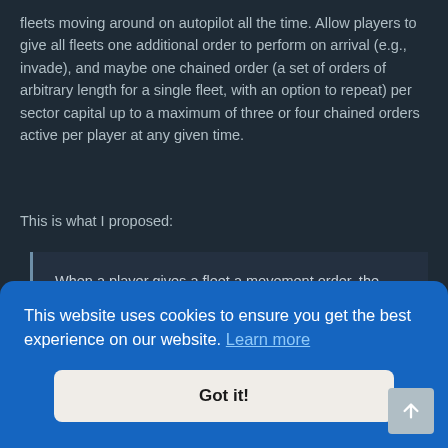fleets moving around on autopilot all the time. Allow players to give all fleets one additional order to perform on arrival (e.g., invade), and maybe one chained order (a set of orders of arbitrary length for a single fleet, with an option to repeat) per sector capital up to a maximum of three or four chained orders active per player at any given time.
This is what I proposed:
When a player gives a fleet a movement order, the player should be able to assign it an additional order to perform when it arrives at
sell all cargo to Mesonhon
This website uses cookies to ensure you get the best experience on our website. Learn more
Got it!